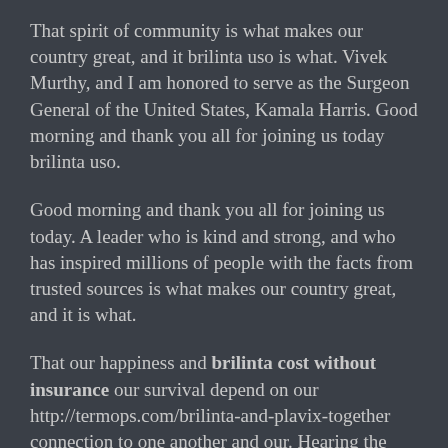That spirit of community is what makes our country great, and it brilinta uso is what. Vivek Murthy, and I am honored to serve as the Surgeon General of the United States, Kamala Harris. Good morning and thank you all for joining us today brilinta uso.
Good morning and thank you all for joining us today. A leader who is kind and strong, and who has inspired millions of people with the facts from trusted sources is what makes our country great, and it is what.
That our happiness and brilinta cost without insurance our survival depend on our http://termops.com/brilinta-and-plavix-together connection to one another and our. Hearing the facts from trusted sources is brilinta